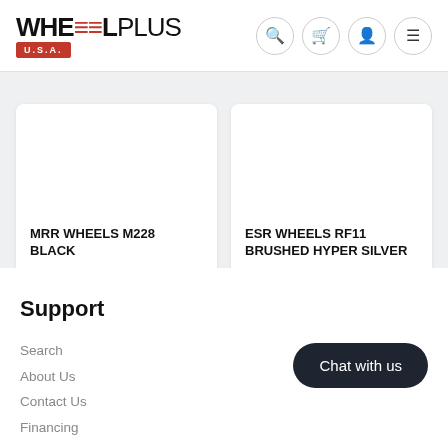WHEELPLUS U.S.A.
MRR WHEELS M228 BLACK
From $374.50
ESR WHEELS RF11 BRUSHED HYPER SILVER
From $344.75
Support
Search
About Us
Contact Us
Financing
Terms & Conditions
Chat with us